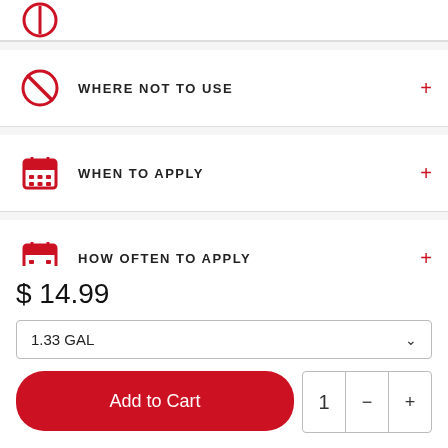WHERE NOT TO USE
WHEN TO APPLY
HOW OFTEN TO APPLY
WEEDS
$ 14.99
1.33 GAL
Add to Cart
1 - +